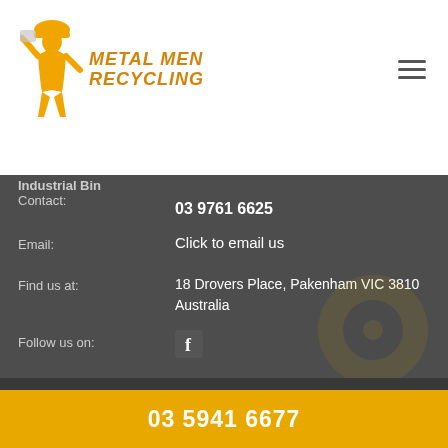[Figure (logo): Metal Men Recycling logo with orange cartoon figure and bold italic text]
Industrial Bin
Contact:
03 9761 6625
Email:
Click to email us
Find us at:
18 Drovers Place, Pakenham VIC 3810 Australia
Follow us on:
Metal Men Recycling © 2019. All Rights Reserved.
Crafted by AWD DIGITAL
03 5941 6677